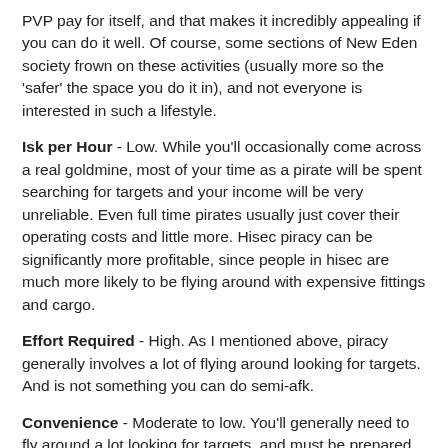PVP pay for itself, and that makes it incredibly appealing if you can do it well. Of course, some sections of New Eden society frown on these activities (usually more so the 'safer' the space you do it in), and not everyone is interested in such a lifestyle.
Isk per Hour - Low. While you'll occasionally come across a real goldmine, most of your time as a pirate will be spent searching for targets and your income will be very unreliable. Even full time pirates usually just cover their operating costs and little more. Hisec piracy can be significantly more profitable, since people in hisec are much more likely to be flying around with expensive fittings and cargo.
Effort Required - High. As I mentioned above, piracy generally involves a lot of flying around looking for targets. And is not something you can do semi-afk.
Convenience - Moderate to low. You'll generally need to fly around a lot looking for targets, and must be prepared to move entirely if targets in an area dry up. Lowsec piracy and some forms of hisec piracy will damage your sec status.